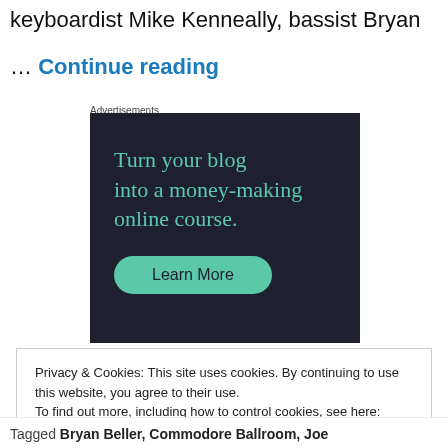keyboardist Mike Kenneally, bassist Bryan
… Continue reading
Advertisements
[Figure (other): Advertisement banner with dark background. Text reads: 'Turn your blog into a money-making online course.' with a teal 'Learn More' button.]
Privacy & Cookies: This site uses cookies. By continuing to use this website, you agree to their use.
To find out more, including how to control cookies, see here: Cookie Policy
Close and accept
Tagged Bryan Beller, Commodore Ballroom, Joe